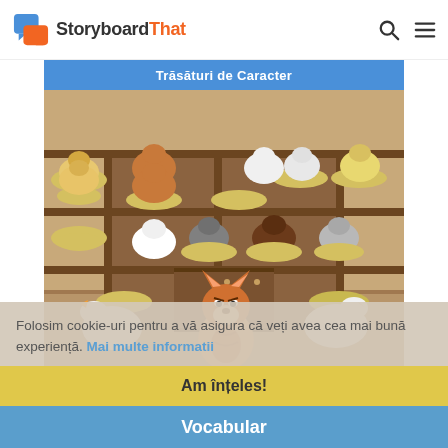StoryboardThat
[Figure (screenshot): StoryboardThat illustration showing a fox character dressed as a farmer standing inside a chicken coop with many chickens sitting in nests on shelves. Title bar reads 'Trăsături de Caracter'.]
Folosim cookie-uri pentru a vă asigura că veți avea cea mai bună experiență. Mai multe informatii
Am înțeles!
Vocabular